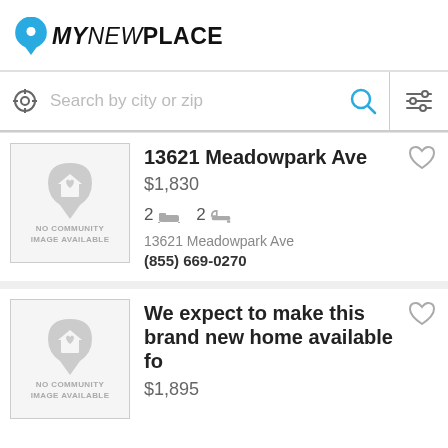[Figure (logo): MyNewPlace logo with map pin icon]
Search by city or zip
13621 Meadowpark Ave
$1,830
2 bed  2 bath
13621 Meadowpark Ave
(855) 669-0270
We expect to make this brand new home available fo
$1,895